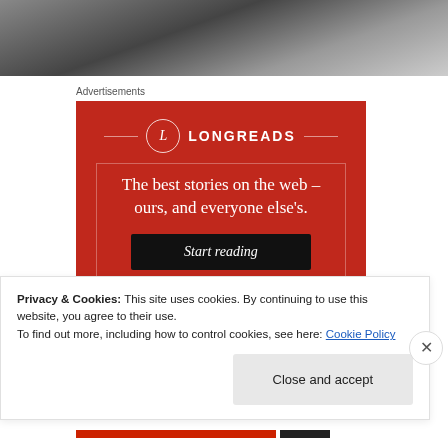[Figure (photo): Black and white photograph strip showing partial view of people, cropped at top of page]
Advertisements
[Figure (other): Longreads advertisement on red background. Logo with circle L and LONGREADS text. Tagline: The best stories on the web – ours, and everyone else's. Black button: Start reading]
Privacy & Cookies: This site uses cookies. By continuing to use this website, you agree to their use.
To find out more, including how to control cookies, see here: Cookie Policy
Close and accept